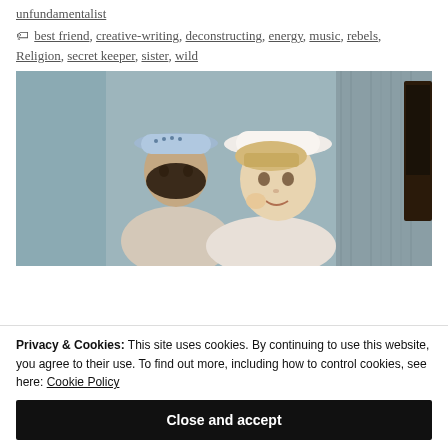unfundamentalist
best friend, creative-writing, deconstructing, energy, music, rebels, Religion, secret keeper, sister, wild
[Figure (photo): Vintage photo of two young children wearing hats indoors, one with a blue brimmed hat and one with a white wide-brimmed hat, near a window with curtains and furniture in the background.]
Privacy & Cookies: This site uses cookies. By continuing to use this website, you agree to their use. To find out more, including how to control cookies, see here: Cookie Policy
Close and accept